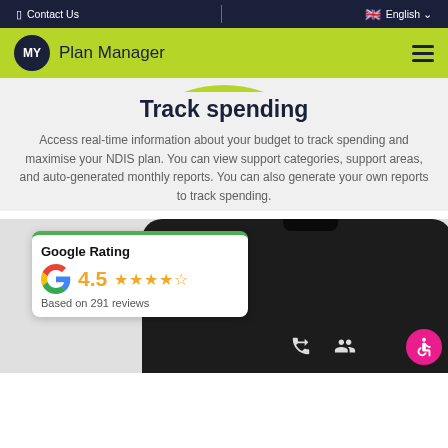Contact Us | English
[Figure (logo): MY Plan Manager logo with dark circle containing MY and green bar background]
Track spending
Access real-time information about your budget to track spending and maximise your NDIS plan. You can view support categories, support areas, and auto-generated monthly reports. You can also generate your own reports to track spending.
[Figure (screenshot): Smartphone screenshot with Google Rating card showing 4.5 stars based on 291 reviews, and phone UI icons at bottom]